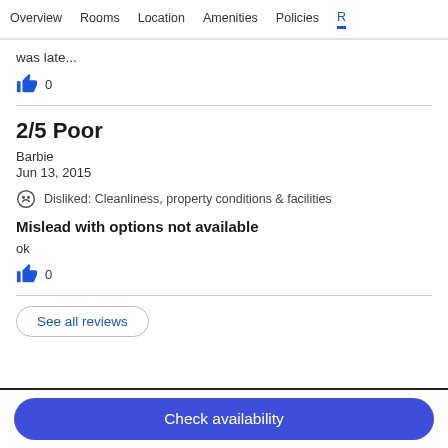Overview  Rooms  Location  Amenities  Policies  R
was late...
👍 0
2/5 Poor
Barbie
Jun 13, 2015
Disliked: Cleanliness, property conditions & facilities
Mislead with options not available
ok
👍 0
See all reviews
Check availability